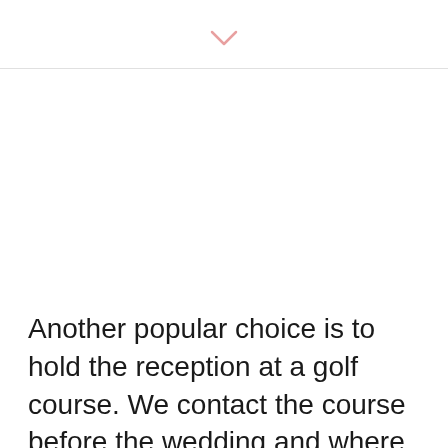[Figure (other): A small pink/salmon chevron (down arrow) icon centered near the top of the page, above a horizontal divider line.]
Another popular choice is to hold the reception at a golf course. We contact the course before the wedding and where possible, arrange the use of a golf buggy. This is a great opportunity to find some unique and beautiful spots for photos and